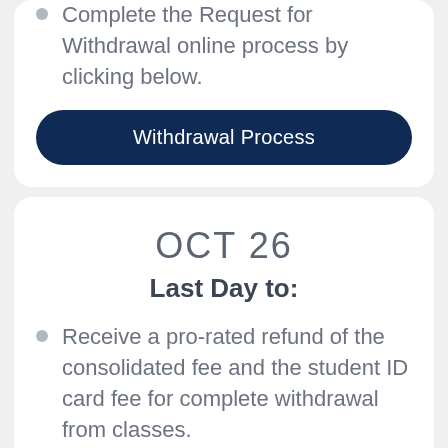Complete the Request for Withdrawal online process by clicking below.
Withdrawal Process
OCT 26
Last Day to:
Receive a pro-rated refund of the consolidated fee and the student ID card fee for complete withdrawal from classes.
Withdrawal Process